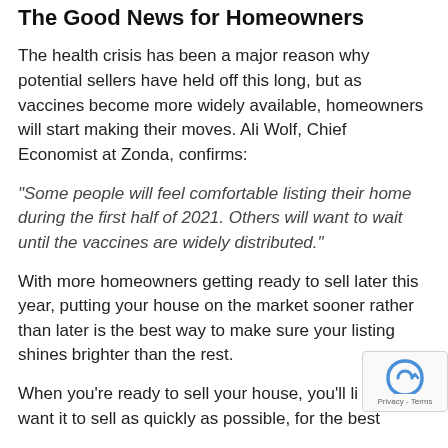The Good News for Homeowners
The health crisis has been a major reason why potential sellers have held off this long, but as vaccines become more widely available, homeowners will start making their moves. Ali Wolf, Chief Economist at Zonda, confirms:
“Some people will feel comfortable listing their home during the first half of 2021. Others will want to wait until the vaccines are widely distributed.”
With more homeowners getting ready to sell later this year, putting your house on the market sooner rather than later is the best way to make sure your listing shines brighter than the rest.
When you’re ready to sell your house, you’ll like want it to sell as quickly as possible, for the best